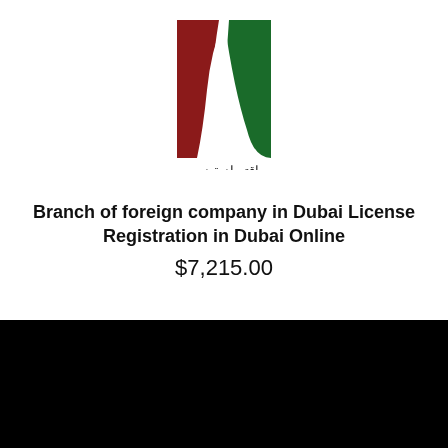[Figure (logo): Dubai Economy logo — red and green square with white road/path shape, Arabic text 'اقتصادية دبي' and English text 'DUBAI ECONOMY']
Branch of foreign company in Dubai License Registration in Dubai Online
$7,215.00
How can I help you?
[Figure (logo): DBS logo in orange text on white background]